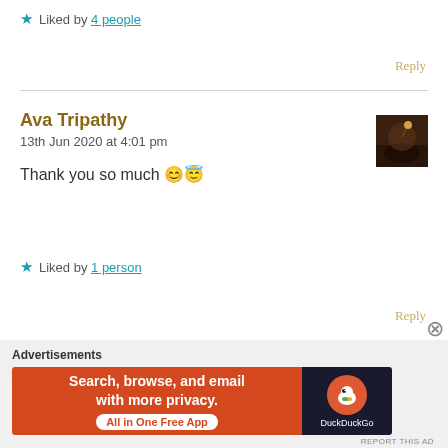★ Liked by 4 people
Reply
Ava Tripathy
13th Jun 2020 at 4:01 pm
[Figure (photo): Small square profile avatar image showing a silhouette against a dark background]
Thank you so much 😊😇
★ Liked by 1 person
Reply
[Figure (infographic): DuckDuckGo advertisement banner: 'Search, browse, and email with more privacy. All in One Free App' with DuckDuckGo logo on dark background]